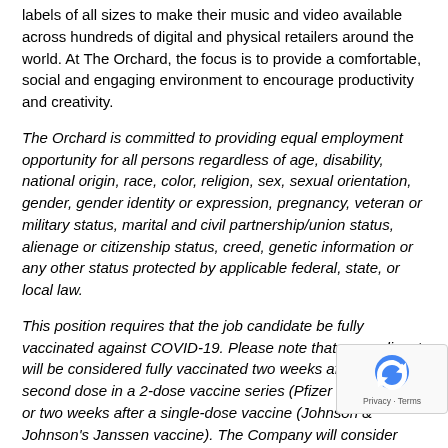labels of all sizes to make their music and video available across hundreds of digital and physical retailers around the world. At The Orchard, the focus is to provide a comfortable, social and engaging environment to encourage productivity and creativity.
The Orchard is committed to providing equal employment opportunity for all persons regardless of age, disability, national origin, race, color, religion, sex, sexual orientation, gender, gender identity or expression, pregnancy, veteran or military status, marital and civil partnership/union status, alienage or citizenship status, creed, genetic information or any other status protected by applicable federal, state, or local law.
This position requires that the job candidate be fully vaccinated against COVID-19. Please note that an applicant will be considered fully vaccinated two weeks after their second dose in a 2-dose vaccine series (Pfizer or Moderna), or two weeks after a single-dose vaccine (Johnson & Johnson's Janssen vaccine). The Company will consider requests for reasonable accommodations for documented medical reasons and for sincerely held religious beliefs in accordance with applicable law. Please do not include proof of vaccine status or any indication of a possible request for an accommodation when submitting your application. If applicable, the Company will follow up with you directly to request proof of vaccination and to discuss any potential accommodations.